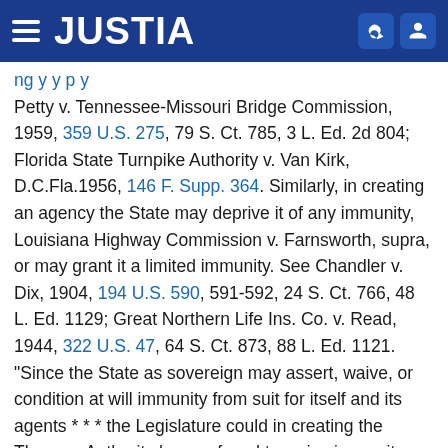JUSTIA
Petty v. Tennessee-Missouri Bridge Commission, 1959, 359 U.S. 275, 79 S. Ct. 785, 3 L. Ed. 2d 804; Florida State Turnpike Authority v. Van Kirk, D.C.Fla.1956, 146 F. Supp. 364. Similarly, in creating an agency the State may deprive it of any immunity, Louisiana Highway Commission v. Farnsworth, supra, or may grant it a limited immunity. See Chandler v. Dix, 1904, 194 U.S. 590, 591-592, 24 S. Ct. 766, 48 L. Ed. 1129; Great Northern Life Ins. Co. v. Read, 1944, 322 U.S. 47, 64 S. Ct. 873, 88 L. Ed. 1121. "Since the State as sovereign may assert, waive, or condition at will immunity from suit for itself and its agents * * * the Legislature could in creating the Thruway Authority have refused to waive immunity as to it and thus could have forbidden suits to be maintained against the Authority in any court or tribunal." Easley v. New York State Thruway Authority, 1956, 1 N.Y.2d 374,